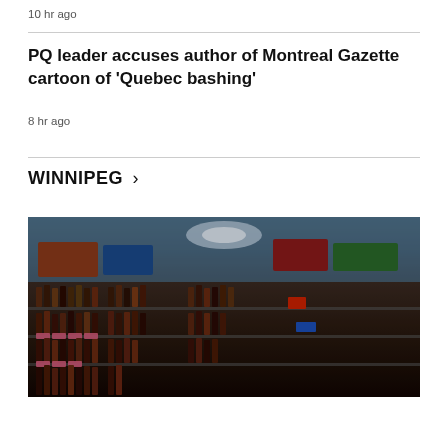10 hr ago
PQ leader accuses author of Montreal Gazette cartoon of 'Quebec bashing'
8 hr ago
WINNIPEG >
[Figure (photo): Interior of a liquor store showing shelves stocked with bottles of alcohol, with colorful signage and store lighting visible in the background.]